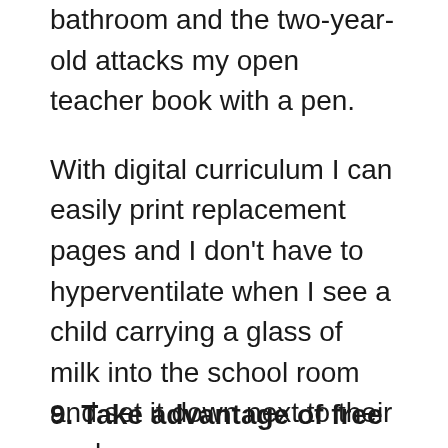bathroom and the two-year-old attacks my open teacher book with a pen.
With digital curriculum I can easily print replacement pages and I don't have to hyperventilate when I see a child carrying a glass of milk into the school room and set it down next to their work.
9. Take advantage of free